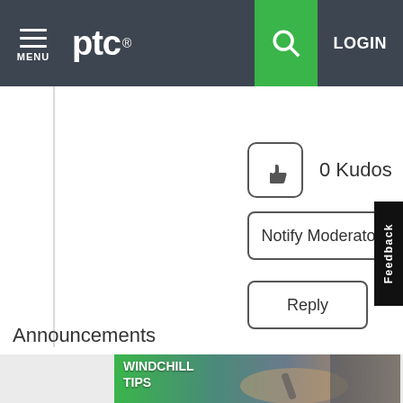PTC — MENU | LOGIN
[Figure (screenshot): Kudos button with thumbs up icon showing 0 Kudos count]
0 Kudos
Notify Moderator
Reply
Feedback
Announcements
[Figure (photo): Image card showing WINDCHILL TIPS with a person writing in background]